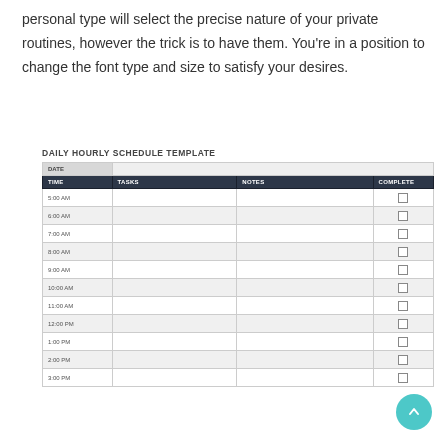personal type will select the precise nature of your private routines, however the trick is to have them. You're in a position to change the font type and size to satisfy your desires.
DAILY HOURLY SCHEDULE TEMPLATE
| TIME | TASKS | NOTES | COMPLETE |
| --- | --- | --- | --- |
| 5:00 AM |  |  | ☐ |
| 6:00 AM |  |  | ☐ |
| 7:00 AM |  |  | ☐ |
| 8:00 AM |  |  | ☐ |
| 9:00 AM |  |  | ☐ |
| 10:00 AM |  |  | ☐ |
| 11:00 AM |  |  | ☐ |
| 12:00 PM |  |  | ☐ |
| 1:00 PM |  |  | ☐ |
| 2:00 PM |  |  | ☐ |
| 3:00 PM |  |  | ☐ |